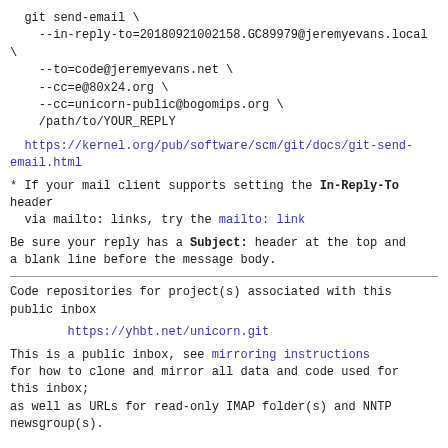git send-email \
    --in-reply-to=20180921002158.GC89979@jeremyevans.local \
    --to=code@jeremyevans.net \
    --cc=e@80x24.org \
    --cc=unicorn-public@bogomips.org \
    /path/to/YOUR_REPLY
https://kernel.org/pub/software/scm/git/docs/git-send-email.html
* If your mail client supports setting the In-Reply-To header
  via mailto: links, try the mailto: link
Be sure your reply has a Subject: header at the top and a blank line before the message body.
Code repositories for project(s) associated with this public inbox
https://yhbt.net/unicorn.git
This is a public inbox, see mirroring instructions
for how to clone and mirror all data and code used for this inbox;
as well as URLs for read-only IMAP folder(s) and NNTP newsgroup(s).